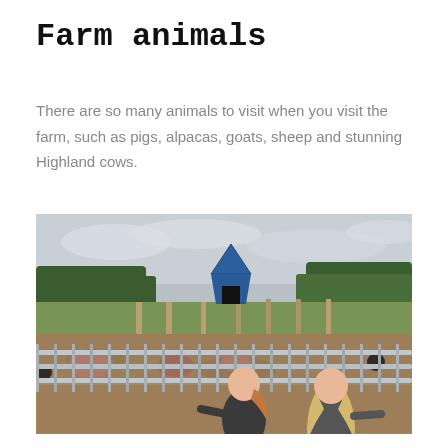Farm animals
There are so many animals to visit when you visit the farm, such as pigs, alpacas, goats, sheep and stunning Highland cows.
[Figure (photo): Two young girls with long hair standing at a metal farm gate/fence, looking into a pig enclosure. In the background there is a blue triangular A-frame animal shelter, trees, and a grey overcast sky. The enclosure has brown dirt ground with pigs visible.]